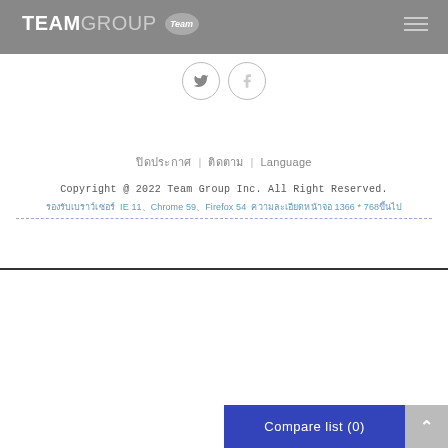[Figure (logo): TEAMGROUP Team logo with gray background header bar]
[Figure (illustration): Social media icons - Twitter (bird) and Facebook (f) circular buttons]
ปิดประกาศ  |  ติดตาม  |  Language
Copyright @ 2022 Team Group Inc. All Right Reserved.
รองรับเบราว์เซอร์  IE 11、Chrome 59、Firefox 54  ความละเอียดหน้าจอ 1366 * 768ขึ้นไป
Compare list (0)